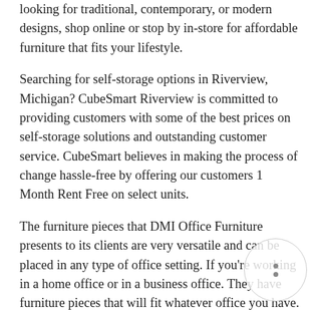looking for traditional, contemporary, or modern designs, shop online or stop by in-store for affordable furniture that fits your lifestyle.
Searching for self-storage options in Riverview, Michigan? CubeSmart Riverview is committed to providing customers with some of the best prices on self-storage solutions and outstanding customer service. CubeSmart believes in making the process of change hassle-free by offering our customers 1 Month Rent Free on select units.
The furniture pieces that DMI Office Furniture presents to its clients are very versatile and can be placed in any type of office setting. If you’re working in a home office or in a business office. They have furniture pieces that will fit whatever office you have.
Home Office Furniture in Riverview on YP.com. See reviews, photos, directions, phone numbers and more for the best Home Office Furniture in Riverview, MI.